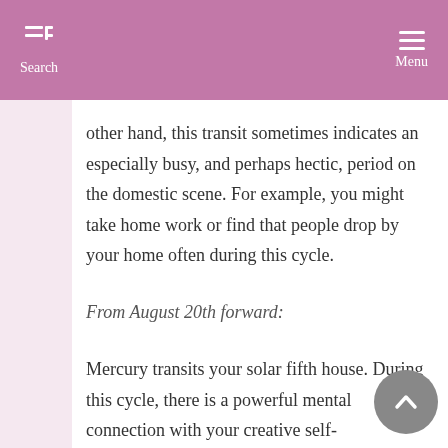Search  Menu
other hand, this transit sometimes indicates an especially busy, and perhaps hectic, period on the domestic scene. For example, you might take home work or find that people drop by your home often during this cycle.
From August 20th forward:
Mercury transits your solar fifth house. During this cycle, there is a powerful mental connection with your creative self-